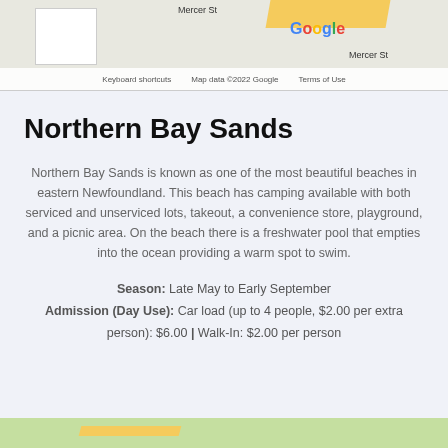[Figure (screenshot): Google Maps screenshot showing Mercer St area with yellow road, Google logo, keyboard shortcuts, map data copyright 2022 Google, Terms of Use]
Northern Bay Sands
Northern Bay Sands is known as one of the most beautiful beaches in eastern Newfoundland. This beach has camping available with both serviced and unserviced lots, takeout, a convenience store, playground, and a picnic area. On the beach there is a freshwater pool that empties into the ocean providing a warm spot to swim.
Season: Late May to Early September
Admission (Day Use): Car load (up to 4 people, $2.00 per extra person): $6.00 | Walk-In: $2.00 per person
[Figure (map): Google Maps screenshot at bottom of page]